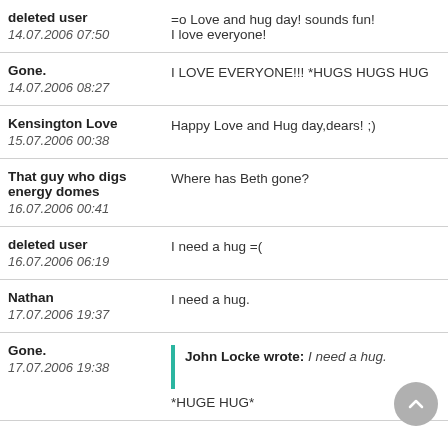deleted user | 14.07.2006 07:50 | =o Love and hug day! sounds fun! I love everyone!
Gone. | 14.07.2006 08:27 | I LOVE EVERYONE!!! *HUGS HUGS HUG
Kensington Love | 15.07.2006 00:38 | Happy Love and Hug day,dears! ;)
That guy who digs energy domes | 16.07.2006 00:41 | Where has Beth gone?
deleted user | 16.07.2006 06:19 | I need a hug =(
Nathan | 17.07.2006 19:37 | I need a hug.
Gone. | 17.07.2006 19:38 | John Locke wrote: I need a hug. *HUGE HUG*